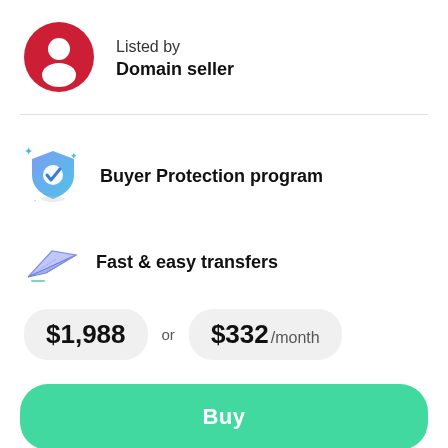[Figure (illustration): Red circular avatar icon with a white person/user silhouette]
Listed by
Domain seller
[Figure (illustration): Blue shield icon with a white checkmark and sparkle stars]
Buyer Protection program
[Figure (illustration): Paper airplane / fast transfer icon in blue/purple tones]
Fast & easy transfers
$1,988 or $332 /month
Buy